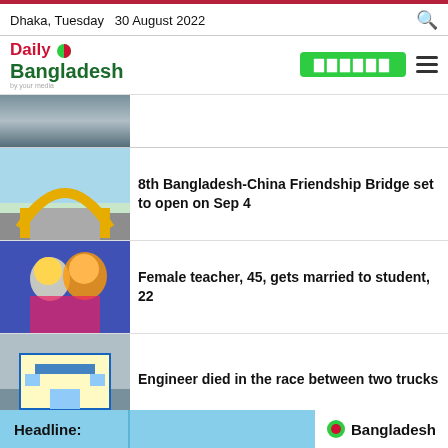Dhaka, Tuesday  30 August 2022
[Figure (logo): Daily Bangladesh newspaper logo with red and green text and circular icon]
[Figure (photo): Partial photo of a news story at top, cropped]
8th Bangladesh-China Friendship Bridge set to open on Sep 4
Female teacher, 45, gets married to student, 22
Engineer died in the race between two trucks
Most Popular
Bangladesh`s Mukul to umpire in India-Pakistan matc
Headline:  Bangladesh